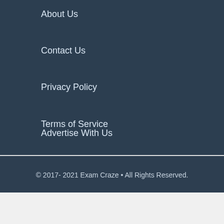About Us
Contact Us
Privacy Policy
Terms of Service
Advertise With Us
© 2017- 2021 Exam Craze • All Rights Reserved.